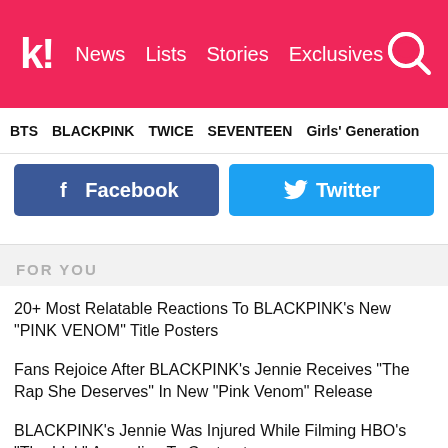k! News Lists Stories Exclusives
BTS BLACKPINK TWICE SEVENTEEN Girls' Generation
[Figure (screenshot): Facebook and Twitter social share buttons]
FOR YOU
20+ Most Relatable Reactions To BLACKPINK's New "PINK VENOM" Title Posters
Fans Rejoice After BLACKPINK's Jennie Receives "The Rap She Deserves" In New "Pink Venom" Release
BLACKPINK's Jennie Was Injured While Filming HBO's "The Idol," According To Castmate
BLACKPINK Lights Up Seoul, New York, And Los Angeles In Pink Ahead Of Their "Pink Venom" Release